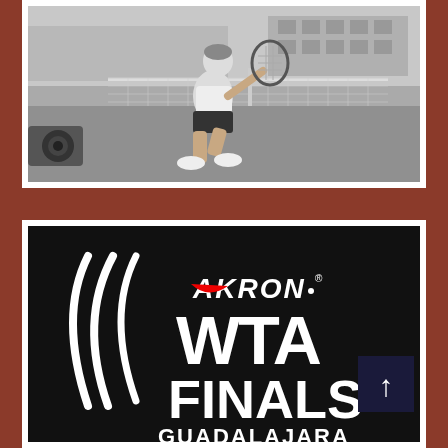[Figure (photo): Black and white photo of a female tennis player in action on a clay court, crouching low with a racket, wearing white top and black shorts, with a tennis net and building visible in the background.]
[Figure (logo): Akron WTA Finals Guadalajara logo on black background. Features the WTA swoosh mark design in white on the left, and text reading 'AKRON.' in white with a red swoosh accent, followed by 'WTA FINALS' in large white bold text, and 'GUADALAJARA' partially visible at the bottom.]